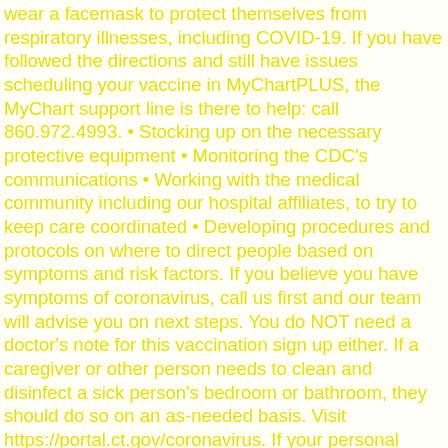wear a facemask to protect themselves from respiratory illnesses, including COVID-19. If you have followed the directions and still have issues scheduling your vaccine in MyChartPLUS, the MyChart support line is there to help: call 860.972.4993. • Stocking up on the necessary protective equipment • Monitoring the CDC's communications • Working with the medical community including our hospital affiliates, to try to keep care coordinated • Developing procedures and protocols on where to direct people based on symptoms and risk factors. If you believe you have symptoms of coronavirus, call us first and our team will advise you on next steps. You do NOT need a doctor's note for this vaccination sign up either. If a caregiver or other person needs to clean and disinfect a sick person's bedroom or bathroom, they should do so on an as-needed basis. Visit https://portal.ct.gov/coronavirus. If your personal information is compromised, it may be used in other fraud schemes. At Starling, we will be testing patients on a limited basis, starting in mid-December in our Glastonbury location. Before preparing or eating food it is important to always wash your hands with soap and water for 20 seconds for general food safety. Coronaviruses cause respiratory illnesses, ranging from common cold symptoms to pneumonia. If you have significant shortness of breath, you need to be evaluated in an emergency room. Help your child get plenty of rest and drink lots of liquids. To test someone for coronavirus, doctors put a long Q-tip into the nose (called a nasal swab) and send it to a lab. We will adhere to be